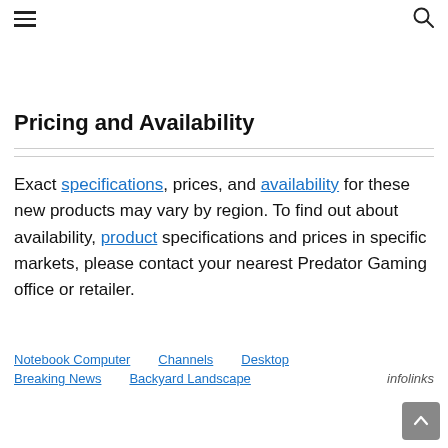≡  🔍
Exact specifications, prices, and availability for these new products may vary by region. To find out about availability, product specifications and prices in specific markets, please contact your nearest Predator Gaming office or retailer.
Pricing and Availability
Notebook Computer   Channels   Desktop   Breaking News   Backyard Landscape   infolinks